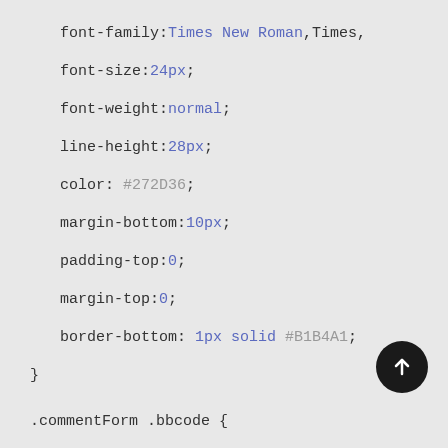font-family:Times New Roman,Times,
font-size:24px;
font-weight:normal;
line-height:28px;
color: #272D36;
margin-bottom:10px;
padding-top:0;
margin-top:0;
border-bottom: 1px solid #B1B4A1;
}

.commentForm .bbcode {
    display: none;
}

#btnSaveAjax {